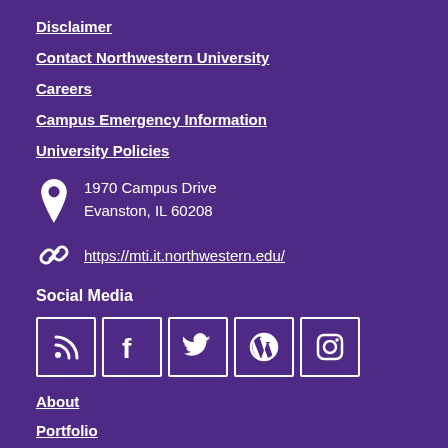Disclaimer
Contact Northwestern University
Careers
Campus Emergency Information
University Policies
1970 Campus Drive
Evanston, IL 60208
https://mti.it.northwestern.edu/
Social Media
[Figure (infographic): Social media icons: RSS feed, Facebook, Twitter, WordPress, Instagram]
About
Portfolio